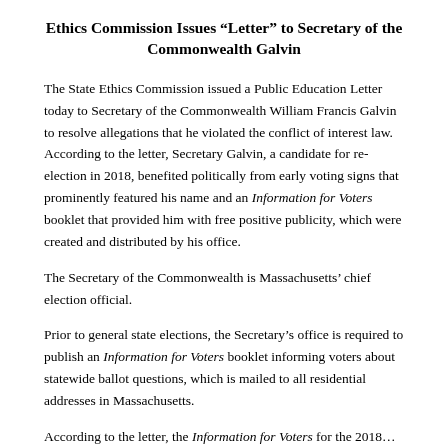Ethics Commission Issues “Letter” to Secretary of the Commonwealth Galvin
The State Ethics Commission issued a Public Education Letter today to Secretary of the Commonwealth William Francis Galvin to resolve allegations that he violated the conflict of interest law. According to the letter, Secretary Galvin, a candidate for re-election in 2018, benefited politically from early voting signs that prominently featured his name and an Information for Voters booklet that provided him with free positive publicity, which were created and distributed by his office.
The Secretary of the Commonwealth is Massachusetts’ chief election official.
Prior to general state elections, the Secretary’s office is required to publish an Information for Voters booklet informing voters about statewide ballot questions, which is mailed to all residential addresses in Massachusetts.
According to the letter, the Information for Voters for the 2018...